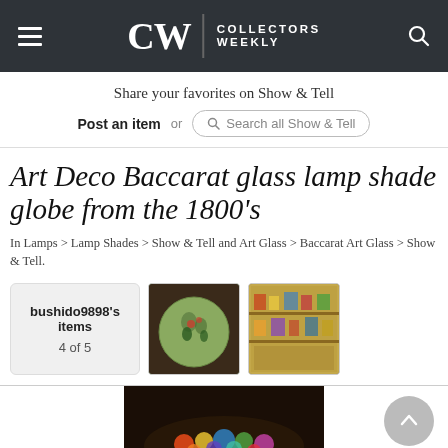CW | COLLECTORS WEEKLY
Share your favorites on Show & Tell
Post an item  or  Search all Show & Tell
Art Deco Baccarat glass lamp shade globe from the 1800's
In Lamps > Lamp Shades > Show & Tell and Art Glass > Baccarat Art Glass > Show & Tell.
bushido9898's items
4 of 5
[Figure (photo): Thumbnail photo of a green glass lamp shade globe with decorative pattern]
[Figure (photo): Thumbnail photo of a display case with decorative items]
[Figure (photo): Partial view of a colorful glass lamp shade at bottom of page]